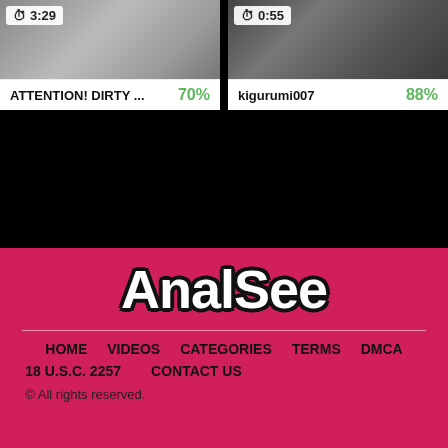[Figure (screenshot): Video thumbnail left showing blurred content with timer badge 3:29]
[Figure (screenshot): Video thumbnail right showing blurred content with timer badge 0:55]
ATTENTION! DIRTY ... 70%
kigurumi007 88%
[Figure (logo): AnalSee website logo in white bold bubble text with black outline on pink/red background]
HOME   VIDEOS   CATEGORIES   TERMS   DMCA   18 U.S.C. 2257   CONTACT US   © All rights reserved.